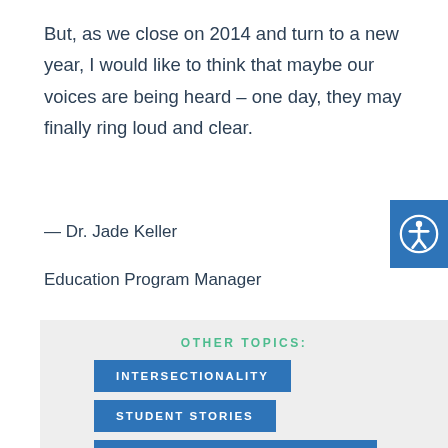But, as we close on 2014 and turn to a new year, I would like to think that maybe our voices are being heard – one day, they may finally ring loud and clear.
— Dr. Jade Keller
Education Program Manager
[Figure (infographic): Blue accessibility icon button showing a person symbol inside a circle]
OTHER TOPICS:
INTERSECTIONALITY
STUDENT STORIES
EXPERT & INSIDER KNOWLEDGE